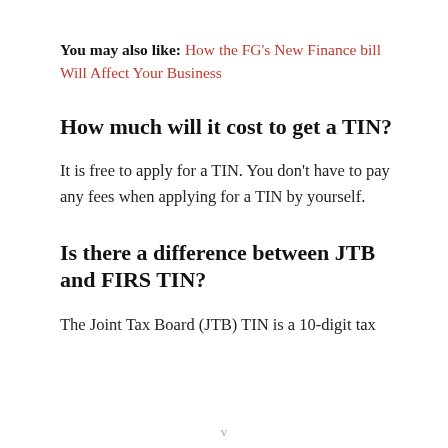You may also like: How the FG's New Finance bill Will Affect Your Business
How much will it cost to get a TIN?
It is free to apply for a TIN. You don't have to pay any fees when applying for a TIN by yourself.
Is there a difference between JTB and FIRS TIN?
The Joint Tax Board (JTB) TIN is a 10-digit tax identification which is issued to…
v